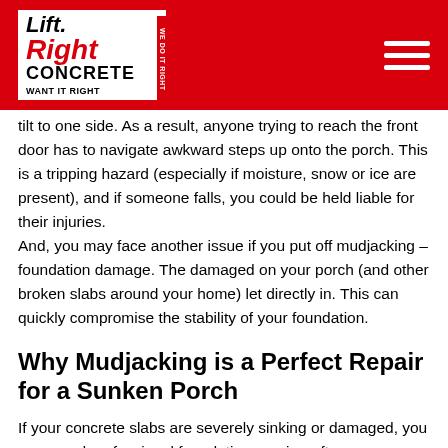[Figure (logo): Lift Right Concrete logo on red header bar with hamburger menu icon]
tilt to one side. As a result, anyone trying to reach the front door has to navigate awkward steps up onto the porch. This is a tripping hazard (especially if moisture, snow or ice are present), and if someone falls, you could be held liable for their injuries.
And, you may face another issue if you put off mudjacking – foundation damage. The damaged on your porch (and other broken slabs around your home) let directly in. This can quickly compromise the stability of your foundation.
Why Mudjacking is a Perfect Repair for a Sunken Porch
If your concrete slabs are severely sinking or damaged, you may need professional foundation repair – often, a very expensive and disruptive project. On top of that, you may need to replace the entire porch.